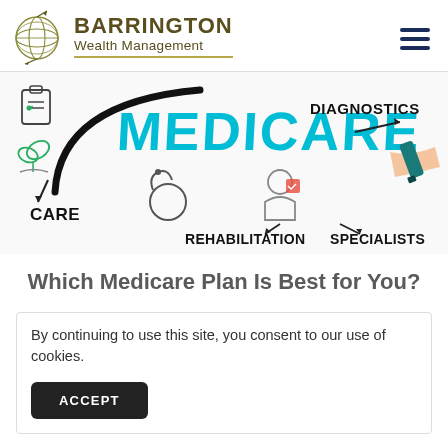[Figure (logo): Barrington Wealth Management logo with globe icon and gold/dark text]
[Figure (photo): Medicare concept illustration with hand writing 'MEDICARE' in large teal letters, with arrows pointing to DIAGNOSTICS, CARE, REHABILITATION, SPECIALISTS, stethoscope and other medical icons drawn on white background]
Which Medicare Plan Is Best for You?
By continuing to use this site, you consent to our use of cookies.
ACCEPT